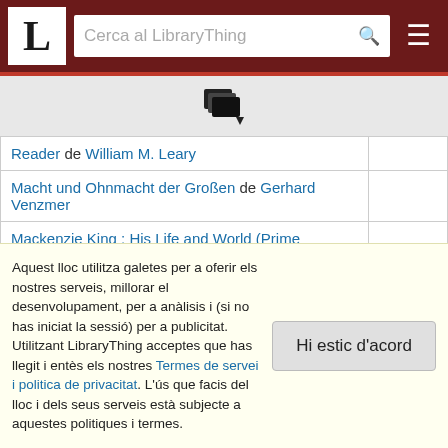LibraryThing navigation bar with logo 'L', search box 'Cerca al LibraryThing', and hamburger menu
[Figure (other): LibraryThing books icon with dropdown arrow]
| Reader de William M. Leary |  |
| Macht und Ohnmacht der Großen de Gerhard Venzmer |  |
| Mackenzie King : His Life and World (Prime Ministers of Canada) de J. L. Granatstein |  |
| The Making of America: Franklin D. Roosevelt de Teri Kanefield |  |
| The Making of Franklin D. Roosevelt de |  |
Aquest lloc utilitza galetes per a oferir els nostres serveis, millorar el desenvolupament, per a anàlisis i (si no has iniciat la sessió) per a publicitat. Utilitzant LibraryThing acceptes que has llegit i entès els nostres Termes de servei i politica de privacitat. L'ús que facis del lloc i dels seus serveis està subjecte a aquestes politiques i termes.